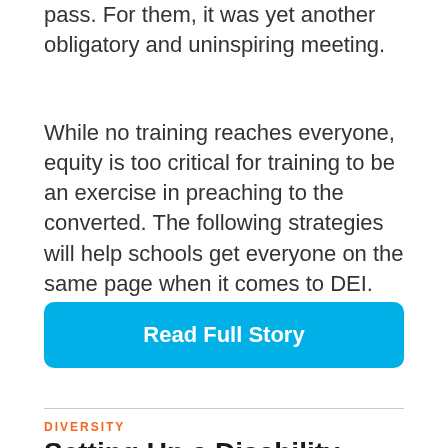pass. For them, it was yet another obligatory and uninspiring meeting.
While no training reaches everyone, equity is too critical for training to be an exercise in preaching to the converted. The following strategies will help schools get everyone on the same page when it comes to DEI.
Read Full Story
DIVERSITY
Setting Up a Disability-Inclusive